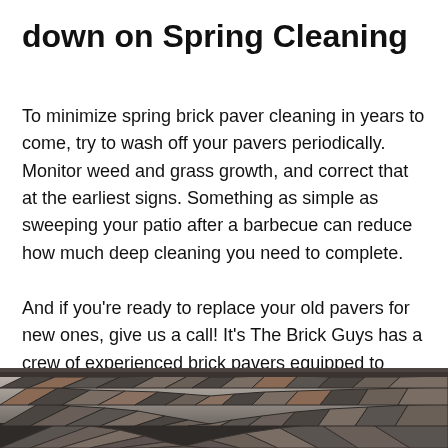down on Spring Cleaning
To minimize spring brick paver cleaning in years to come, try to wash off your pavers periodically. Monitor weed and grass growth, and correct that at the earliest signs. Something as simple as sweeping your patio after a barbecue can reduce how much deep cleaning you need to complete.
And if you're ready to replace your old pavers for new ones, give us a call! It's The Brick Guys has a crew of experienced brick pavers equipped to transform your property.
[Figure (photo): Close-up photograph of a brick paver patio showing dark gray and brown pavers arranged in a curved/fan pattern.]